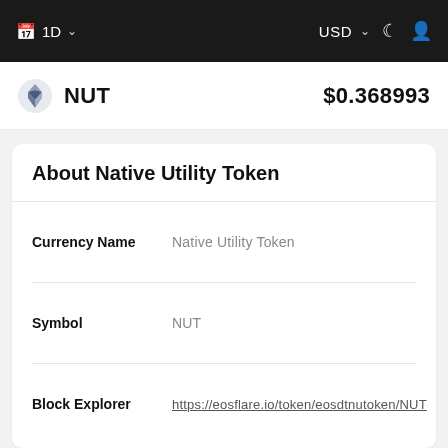1D   USD
NUT   $0.368993
About Native Utility Token
| Field | Value |
| --- | --- |
| Currency Name | Native Utility Token |
| Symbol | NUT |
| Block Explorer | https://eosflare.io/token/eosdtnutoken/NUT |